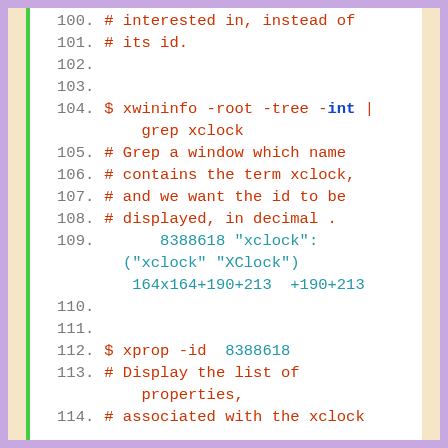Code listing showing lines 100-114 with xwininfo and xprop shell commands and comments
[Figure (screenshot): Code block with line numbers 100-114 showing shell commands: xwininfo -root -tree -int | grep xclock, and xprop -id 8388618, with comments about grepping a window by name and displaying properties. Output line shows 8388618 "xclock": ("xclock" "XClock") 164x164+190+213 +190+213]